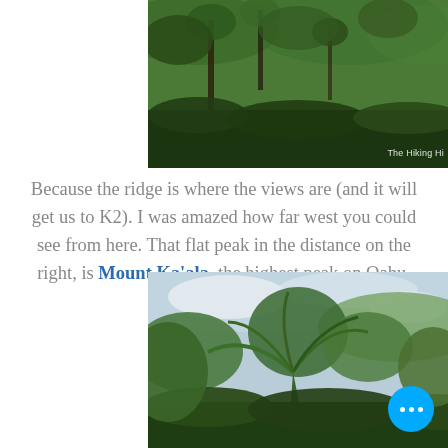[Figure (photo): Aerial or elevated view of dense tropical green forest/jungle canopy with a watermark reading 'The Hiking Hi' in the bottom right corner]
Because the ridge is where the views are (and it will get us to K2). I was amazed how far west you could see from here. That flat peak in the distance on the right, is Mount Ka'ala, the highest peak on Oahu.
[Figure (photo): Low angle upward view of dense tropical jungle vegetation including palm fronds and broad-leafed plants against a partly cloudy sky, with a blue circular button with three dots in the bottom right corner]